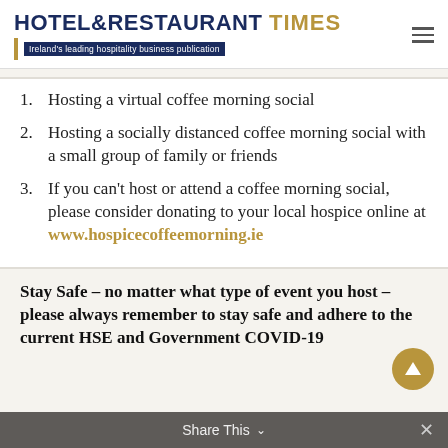[Figure (logo): Hotel & Restaurant Times logo — Ireland's leading hospitality business publication]
1. Hosting a virtual coffee morning social
2. Hosting a socially distanced coffee morning social with a small group of family or friends
3. If you can't host or attend a coffee morning social, please consider donating to your local hospice online at www.hospicecoffeemorning.ie
Stay Safe – no matter what type of event you host – please always remember to stay safe and adhere to the current HSE and Government COVID-19
Share This ∨  ×